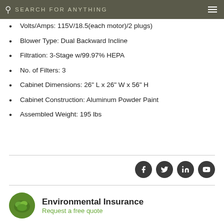SEARCH FOR ANYTHING
Volts/Amps: 115V/18.5(each motor)/2 plugs)
Blower Type: Dual Backward Incline
Filtration: 3-Stage w/99.97% HEPA
No. of Filters: 3
Cabinet Dimensions: 26" L x 26" W x 56" H
Cabinet Construction: Aluminum Powder Paint
Assembled Weight: 195 lbs
[Figure (other): Social media icons: Facebook, Twitter, LinkedIn, YouTube]
Environmental Insurance
Request a free quote